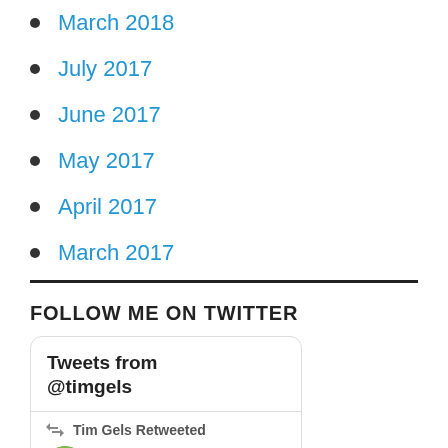March 2018
July 2017
June 2017
May 2017
April 2017
March 2017
FOLLOW ME ON TWITTER
[Figure (screenshot): Twitter widget showing 'Tweets from @timgels' with a retweet by Tim Gels of Land Tru... account with Twitter bird icon]